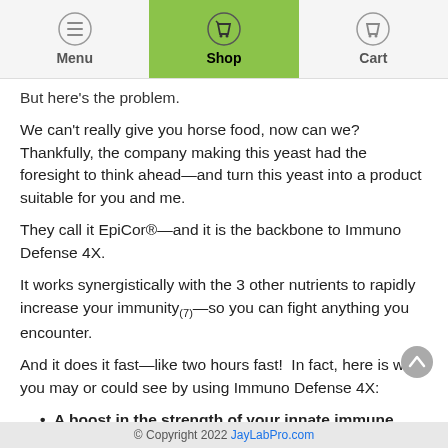Menu | Shop | Cart
But here's the problem.
We can't really give you horse food, now can we? Thankfully, the company making this yeast had the foresight to think ahead—and turn this yeast into a product suitable for you and me.
They call it EpiCor®—and it is the backbone to Immuno Defense 4X.
It works synergistically with the 3 other nutrients to rapidly increase your immunity(7)—so you can fight anything you encounter.
And it does it fast—like two hours fast!  In fact, here is what you may or could see by using Immuno Defense 4X:
A boost in the strength of your innate immune
© Copyright 2022 JayLabPro.com